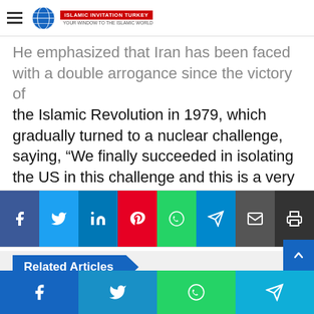Islamic Invitation Turkey — navigation bar with logo
He emphasized that Iran has been faced with a double arrogance since the victory of the Islamic Revolution in 1979, which gradually turned to a nuclear challenge, saying, “We finally succeeded in isolating the US in this challenge and this is a very valuable achievement for the Islamic Republic of Iran.”
[Figure (infographic): Social media share buttons bar: Facebook (blue), Twitter (cyan), LinkedIn (blue), Pinterest (red), WhatsApp (green), Telegram (light blue), Email (dark gray), Print (dark gray)]
Related Articles
[Figure (photo): Black and white photograph of group of people including a bearded man in the center]
[Figure (photo): Color photograph of soldiers with weapons in an urban setting]
Bottom share bar: Facebook, Twitter, WhatsApp, Telegram